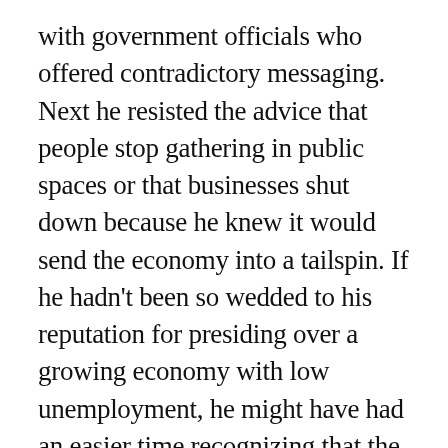with government officials who offered contradictory messaging. Next he resisted the advice that people stop gathering in public spaces or that businesses shut down because he knew it would send the economy into a tailspin. If he hadn't been so wedded to his reputation for presiding over a growing economy with low unemployment, he might have had an easier time recognizing that the viral pandemic was going to do what it was going to do and that no amount of denial or cheerleading could prevent it from undermining his numbers. He might have understood that the best political protection available would come from getting ahead of the pandemic before it arrived in force on our shores.